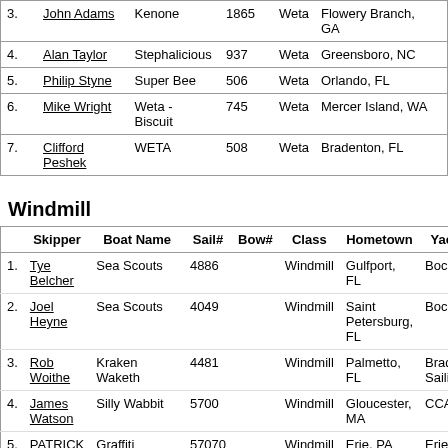|  | Skipper | Boat Name | Sail# | Bow# | Class | Hometown | Yacht |
| --- | --- | --- | --- | --- | --- | --- | --- |
| 3. | John Adams | Kenone | 1865 |  | Weta | Flowery Branch, GA |  |
| 4. | Alan Taylor | Stephalicious | 937 |  | Weta | Greensboro, NC |  |
| 5. | Philip Styne | Super Bee | 506 |  | Weta | Orlando, FL |  |
| 6. | Mike Wright | Weta - Biscuit | 745 |  | Weta | Mercer Island, WA |  |
| 7. | Clifford Peshek | WETA | 508 |  | Weta | Bradenton, FL |  |
Windmill
|  | Skipper | Boat Name | Sail# | Bow# | Class | Hometown | Yacht |
| --- | --- | --- | --- | --- | --- | --- | --- |
| 1. | Tye Belcher | Sea Scouts | 4886 |  | Windmill | Gulfport, FL | Boca Ci |
| 2. | Joel Heyne | Sea Scouts | 4049 |  | Windmill | Saint Petersburg, FL | Boca Ci |
| 3. | Rob Woithe | Kraken Waketh | 4481 |  | Windmill | Palmetto, FL | Bradent Sailing |
| 4. | James Watson | Silly Wabbit | 5700 |  | Windmill | Gloucester, MA | CCA |
| 5. | PATRICK Huntley | Graffiti | 57070 |  | Windmill | Erie, PA | Erie Yac |
| 6. | Chris Demler | SPEEDBUMP | 5705 |  | Windmill | Lebanon, OH | Hoover |
| 7. | Phillip Durand | Caliente | 5399 |  | Windmill | Shawnee, KS | Jacomo |
| 8. | Lisa Fath | ELVIS | 4028 |  | Windmill | Palmetto, FL | MRPF |